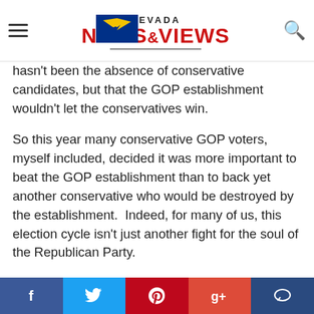NEVADA NEWS&VIEWS
hasn't been the absence of conservative candidates, but that the GOP establishment wouldn't let the conservatives win.
So this year many conservative GOP voters, myself included, decided it was more important to beat the GOP establishment than to back yet another conservative who would be destroyed by the establishment.  Indeed, for many of us, this election cycle isn't just another fight for the soul of the Republican Party.
It's a long overdue reckoning.
NEWSMAX HEADLINES
f  Twitter  Pinterest  g+  Comment